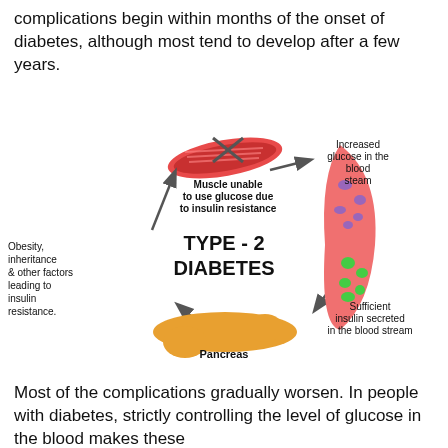complications begin within months of the onset of diabetes, although most tend to develop after a few years.
[Figure (infographic): Circular diagram showing the Type-2 Diabetes cycle. Center label reads TYPE-2 DIABETES. Top: red muscle shape with X, labeled Muscle unable to use glucose due to insulin resistance. Top-right: arrow pointing left from text Increased glucose in the blood steam. Right: red blood vessel shape with purple and green dots. Bottom-right: text Sufficient insulin secreted in the blood stream with arrow pointing to vessel. Bottom-center: orange pancreas shape labeled Pancreas. Left: text Obesity, inheritance & other factors leading to insulin resistance. with upward arrow to muscle.]
Most of the complications gradually worsen. In people with diabetes, strictly controlling the level of glucose in the blood makes these